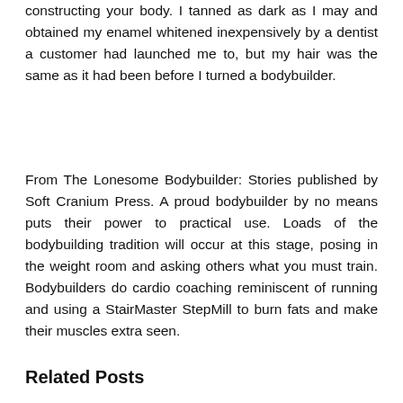constructing your body. I tanned as dark as I may and obtained my enamel whitened inexpensively by a dentist a customer had launched me to, but my hair was the same as it had been before I turned a bodybuilder.
From The Lonesome Bodybuilder: Stories published by Soft Cranium Press. A proud bodybuilder by no means puts their power to practical use. Loads of the bodybuilding tradition will occur at this stage, posing in the weight room and asking others what you must train. Bodybuilders do cardio coaching reminiscent of running and using a StairMaster StepMill to burn fats and make their muscles extra seen.
Related Posts